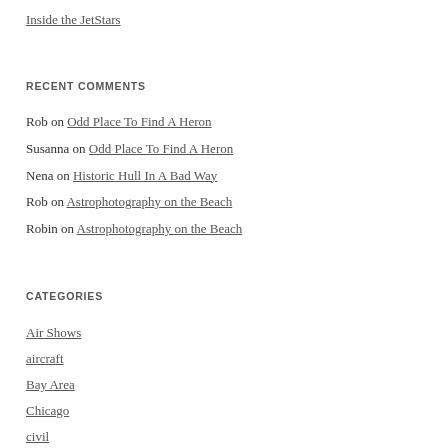Inside the JetStars
RECENT COMMENTS
Rob on Odd Place To Find A Heron
Susanna on Odd Place To Find A Heron
Nena on Historic Hull In A Bad Way
Rob on Astrophotography on the Beach
Robin on Astrophotography on the Beach
CATEGORIES
Air Shows
aircraft
Bay Area
Chicago
civil